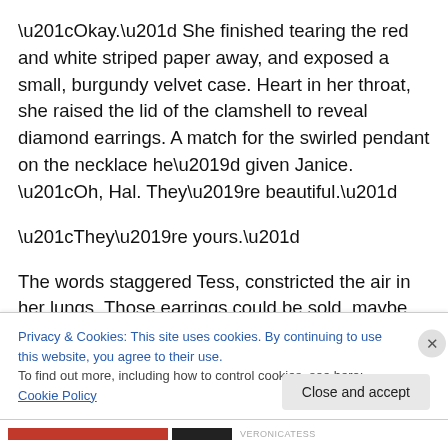“Okay.” She finished tearing the red and white striped paper away, and exposed a small, burgundy velvet case. Heart in her throat, she raised the lid of the clamshell to reveal diamond earrings. A match for the swirled pendant on the necklace he’d given Janice. “Oh, Hal. They’re beautiful.”
“They’re yours.”
The words staggered Tess, constricted the air in her lungs. Those earrings could be sold, maybe help her to live until
Privacy & Cookies: This site uses cookies. By continuing to use this website, you agree to their use.
To find out more, including how to control cookies, see here: Cookie Policy
Close and accept